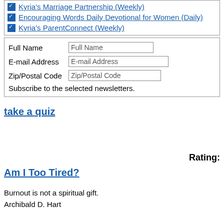Kyria's Marriage Partnership (Weekly)
Encouraging Words Daily Devotional for Women (Daily)
Kyria's ParentConnect (Weekly)
Full Name | E-mail Address | Zip/Postal Code | Subscribe to the selected newsletters.
take a quiz
Rating:
Am I Too Tired?
Burnout is not a spiritual gift.
Archibald D. Hart